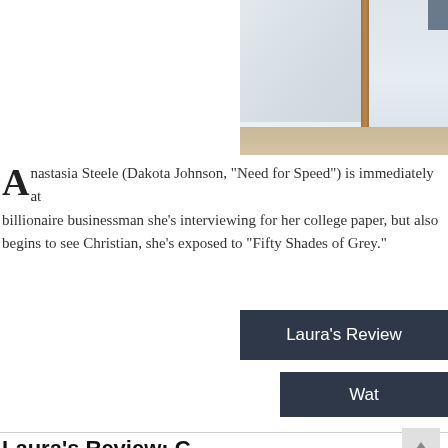[Figure (photo): Partial interior photo showing a room with a wooden door post, light-colored walls, and a wooden floor. A dark figure or object is visible in the upper right corner.]
Anastasia Steele (Dakota Johnson, "Need for Speed") is immediately attracted not only to the billionaire businessman she's interviewing for her college paper, but also... As she begins to see Christian, she's exposed to "Fifty Shades of Grey."
Laura's Review
Wat
Laura's Review: C
A... (beginning of review text)